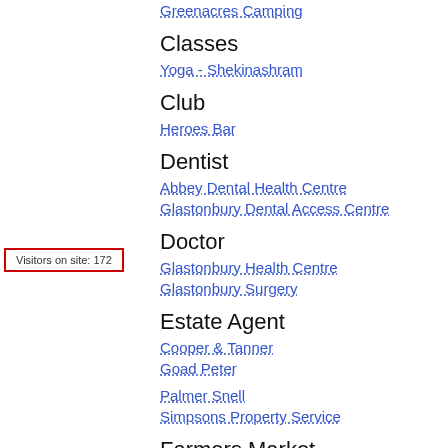Greenacres Camping
Classes
Yoga - Shekinashram
Club
Heroes Bar
Visitors on site: 172
Dentist
Abbey Dental Health Centre
Glastonbury Dental Access Centre
Doctor
Glastonbury Health Centre
Glastonbury Surgery
Estate Agent
Cooper & Tanner
Goad Peter
Palmer Snell
Simpsons Property Service
Farmers Market
Glastonbury Farmers Market
Inn
George & Pilgrims
Market